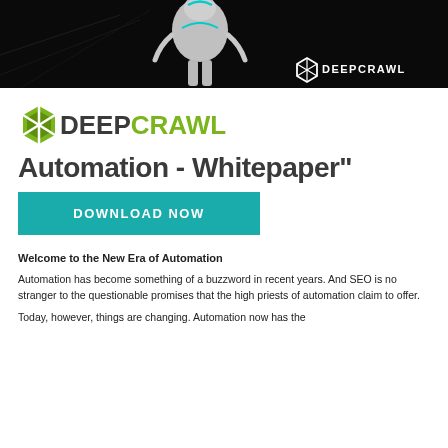[Figure (photo): Dark hero banner image showing a 3D rendered robotic/mechanical figure on a black background with the DeepCrawl logo in white at the lower right]
[Figure (logo): DeepCrawl logo: green hexagon icon with 'DEEP' in dark grey and 'CRAWL' in green, bold sans-serif font]
Automation - Whitepaper"
[Figure (other): Teal/cyan 'DOWNLOAD NOW' call-to-action button]
Welcome to the New Era of Automation
Automation has become something of a buzzword in recent years. And SEO is no stranger to the questionable promises that the high priests of automation claim to offer.
Today, however, things are changing. Automation now has the